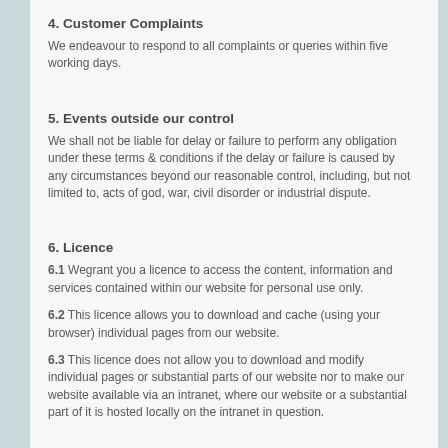4. Customer Complaints
We endeavour to respond to all complaints or queries within five working days.
5. Events outside our control
We shall not be liable for delay or failure to perform any obligation under these terms & conditions if the delay or failure is caused by any circumstances beyond our reasonable control, including, but not limited to, acts of god, war, civil disorder or industrial dispute.
6. Licence
6.1 Wegrant you a licence to access the content, information and services contained within our website for personal use only.
6.2 This licence allows you to download and cache (using your browser) individual pages from our website.
6.3 This licence does not allow you to download and modify individual pages or substantial parts of our website nor to make our website available via an intranet, where our website or a substantial part of it is hosted locally on the intranet in question.